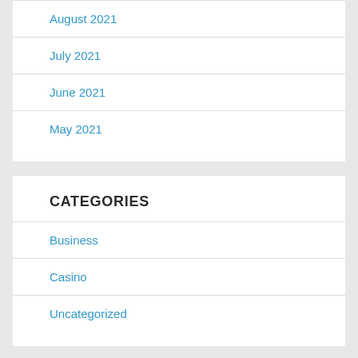August 2021
July 2021
June 2021
May 2021
CATEGORIES
Business
Casino
Uncategorized